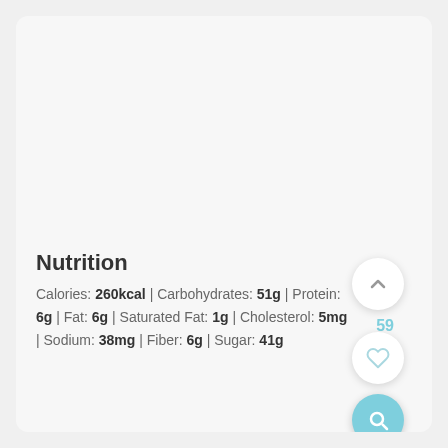Nutrition
Calories: 260kcal | Carbohydrates: 51g | Protein: 6g | Fat: 6g | Saturated Fat: 1g | Cholesterol: 5mg | Sodium: 38mg | Fiber: 6g | Sugar: 41g